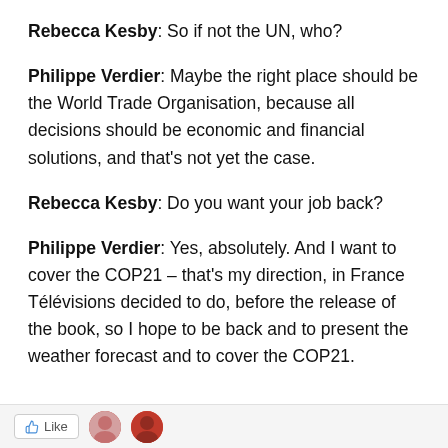Rebecca Kesby: So if not the UN, who?
Philippe Verdier: Maybe the right place should be the World Trade Organisation, because all decisions should be economic and financial solutions, and that's not yet the case.
Rebecca Kesby: Do you want your job back?
Philippe Verdier: Yes, absolutely. And I want to cover the COP21 – that's my direction, in France Télévisions decided to do, before the release of the book, so I hope to be back and to present the weather forecast and to cover the COP21.